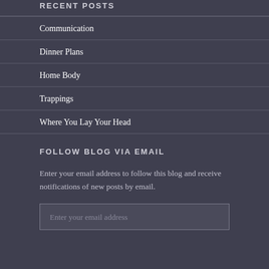RECENT POSTS
Communication
Dinner Plans
Home Body
Trappings
Where You Lay Your Head
FOLLOW BLOG VIA EMAIL
Enter your email address to follow this blog and receive notifications of new posts by email.
Enter your email address